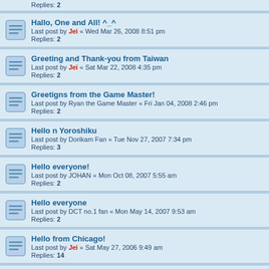Replies: 2 (partial row at top)
Hallo, One and All! ^_^ — Last post by Jei « Wed Mar 26, 2008 8:51 pm — Replies: 2
Greeting and Thank-you from Taiwan — Last post by Jei « Sat Mar 22, 2008 4:35 pm — Replies: 2
Greetigns from the Game Master! — Last post by Ryan the Game Master « Fri Jan 04, 2008 2:46 pm — Replies: 2
Hello n Yoroshiku — Last post by Dorikam Fan « Tue Nov 27, 2007 7:34 pm — Replies: 3
Hello everyone! — Last post by JOHAN « Mon Oct 08, 2007 5:55 am — Replies: 2
Hello everyone — Last post by DCT no.1 fan « Mon May 14, 2007 9:53 am — Replies: 2
Hello from Chicago! — Last post by Jei « Sat May 27, 2006 9:49 am — Replies: 14
hihi — Last post by k3 « Wed May 17, 2006 3:57 am — Replies: 4
Greetings fellow DCT fanatics — Last post by CooLDsteR « Sun Apr 09, 2006 3:43 am
Hello!! — Last post by tachikaze « Thu Feb 23, 2006 2:04 am — Replies: 7